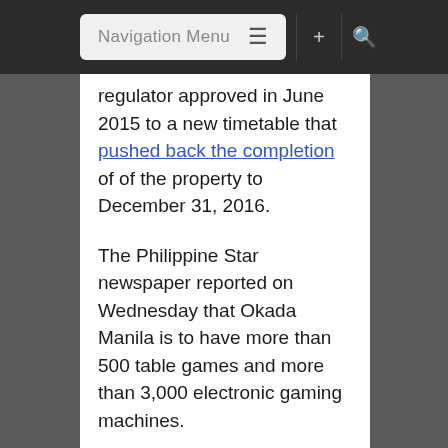Navigation Menu
regulator approved in June 2015 to a new timetable that pushed back the completion of of the property to December 31, 2016.
The Philippine Star newspaper reported on Wednesday that Okada Manila is to have more than 500 table games and more than 3,000 electronic gaming machines.
The news outlet added that phase one will have 993 hotel rooms and a 8,361-sq-metre entertainment venue. Okada Manila will have two wings – named respectively Pearl and Coral, each of 15 floors.
Mr Usui was indirectly quoted by Bloomberg News as saying the Manila resort could cost US$3 billion in its first phase and reach US$4 billion when three more phases are built, making it Mr Okada's biggest...